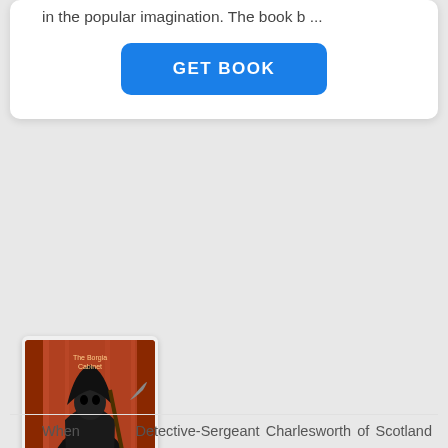in the popular imagination. The book b ...
GET BOOK
The Borgia Cabinet by J. S. Fletcher
When Detective-Sergeant Charlesworth of Scotland Yard was sent down to Aldersyke Manor to investigate the sudden mysterious death of Sir Charles Stanmore, he determined that, no matter what happened, if it proved to be a case ...